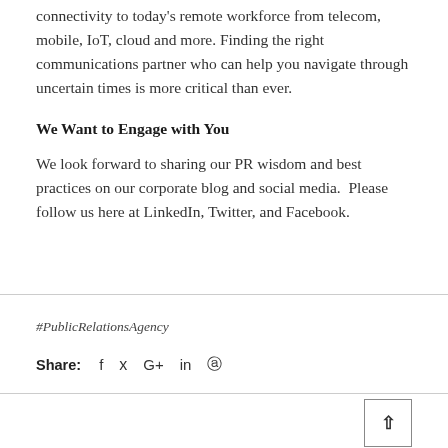connectivity to today's remote workforce from telecom, mobile, IoT, cloud and more. Finding the right communications partner who can help you navigate through uncertain times is more critical than ever.
We Want to Engage with You
We look forward to sharing our PR wisdom and best practices on our corporate blog and social media.  Please follow us here at LinkedIn, Twitter, and Facebook.
#PublicRelationsAgency
Share:  f  ✓  G+  in  ⊕